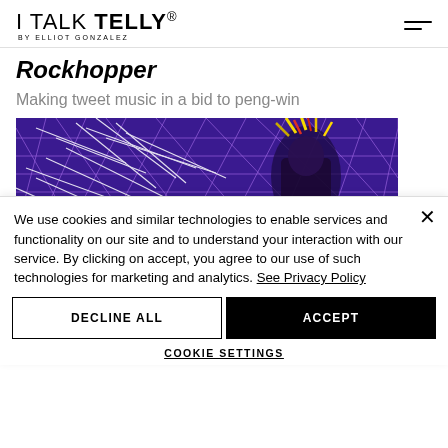I TALK TELLY® BY ELLIOT GONZALEZ
Rockhopper
Making tweet music in a bid to peng-win
[Figure (photo): A performer or figure with colorful feathered headpiece against a vivid purple geometric grid/wireframe background.]
We use cookies and similar technologies to enable services and functionality on our site and to understand your interaction with our service. By clicking on accept, you agree to our use of such technologies for marketing and analytics. See Privacy Policy